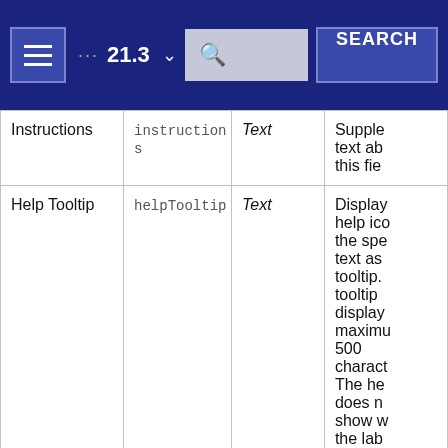≡  ···  21.3 ▾  [search]  SEARCH
| Instructions | instructions | Text | Supple... text ab... this fie... |
| Help Tooltip | helpTooltip | Text | Display... help ico... the spe... text as... tooltip... tooltip... display... maximum... 500 charact... The he... does n... show w... the lab... positio... "opt... |